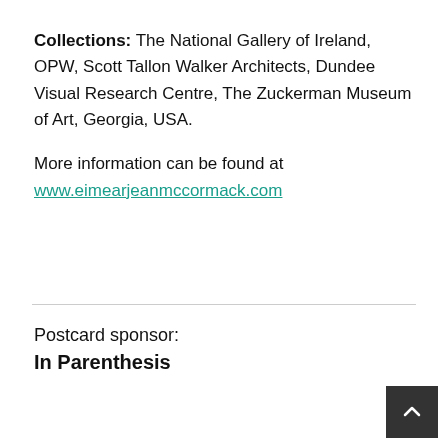Collections: The National Gallery of Ireland, OPW, Scott Tallon Walker Architects, Dundee Visual Research Centre, The Zuckerman Museum of Art, Georgia, USA.
More information can be found at www.eimearjeanmccormack.com
Postcard sponsor:
In Parenthesis